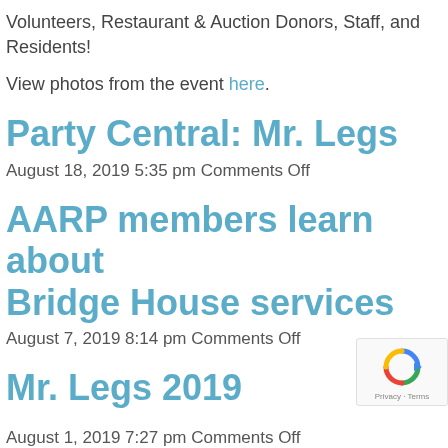Volunteers, Restaurant & Auction Donors, Staff, and Residents!
View photos from the event here.
Party Central: Mr. Legs
August 18, 2019 5:35 pm Comments Off
AARP members learn about Bridge House services
August 7, 2019 8:14 pm Comments Off
Mr. Legs 2019
August 1, 2019 7:27 pm Comments Off